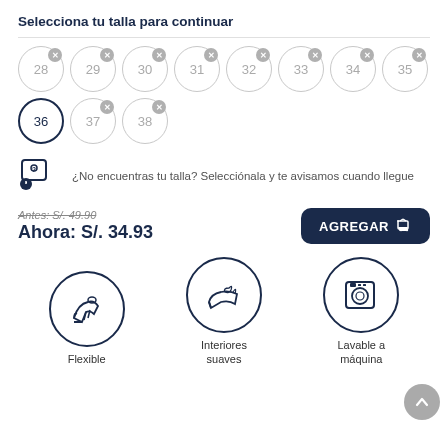Selecciona tu talla para continuar
[Figure (infographic): Size selector grid with circles numbered 28-38. 36 is selected (dark border). Others have grey X badges.]
¿No encuentras tu talla? Selecciónala y te avisamos cuando llegue
Antes: S/. 49.90
Ahora: S/. 34.93
AGREGAR
[Figure (infographic): Three feature icons in circles: Flexible (shoe icon), Interiores suaves (sneaker with leaf icon), Lavable a máquina (washing machine icon)]